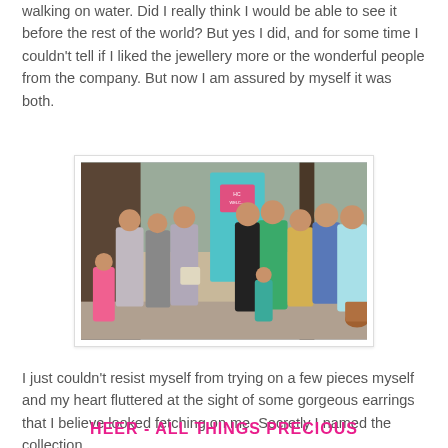walking on water. Did I really think I would be able to see it before the rest of the world? But yes I did, and for some time I couldn't tell if I liked the jewellery more or the wonderful people from the company. But now I am assured by myself it was both.
[Figure (photo): Group photo of people standing together outdoors, with a teal/cyan banner/backdrop behind them. Several women and one man posing together. Some wearing Indian traditional and western outfits.]
I just couldn't resist myself from trying on a few pieces myself and my heart fluttered at the sight of some gorgeous earrings that I believe looked fetching on me. Secretly I named the collection,
HEER - ALL THINGS PRECIOUS